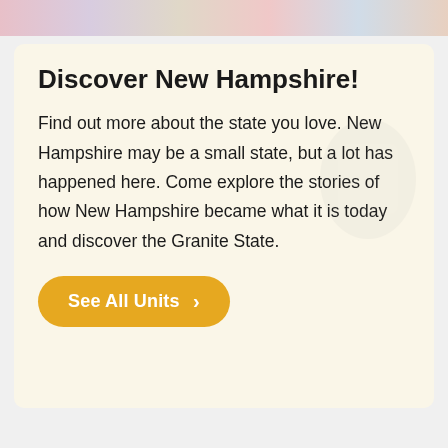[Figure (photo): Top strip showing children's faces cropped at top of page]
Discover New Hampshire!
Find out more about the state you love. New Hampshire may be a small state, but a lot has happened here. Come explore the stories of how New Hampshire became what it is today and discover the Granite State.
[Figure (other): See All Units button with gold/amber background and right arrow]
[Figure (other): Purple card section at bottom of page]